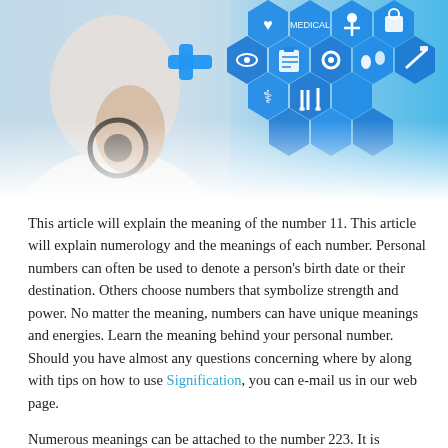[Figure (photo): Medical-themed banner image: on the left, a person in a white coat holds a stethoscope and a blue medical cross icon; on the right, a blue hexagonal grid of medical icons (heart, clipboard, eye, person, water drops, medical bag, DNA, test tubes, syringe, gear) on a light blue background with the word MEDICAL visible.]
This article will explain the meaning of the number 11. This article will explain numerology and the meanings of each number. Personal numbers can often be used to denote a person's birth date or their destination. Others choose numbers that symbolize strength and power. No matter the meaning, numbers can have unique meanings and energies. Learn the meaning behind your personal number. Should you have almost any questions concerning where by along with tips on how to use Signification, you can e-mail us in our web page.
Numerous meanings can be attached to the number 223. It is associated with positivity and prosperity. It is also considered a master number and, as such, it is associated with personal mastery,